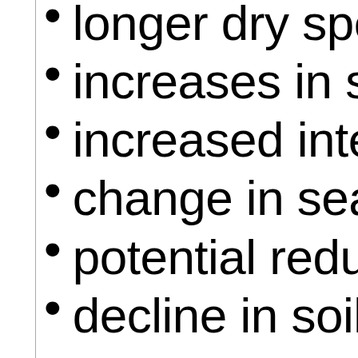longer dry spel…
increases in stor…
increased intens…
change in seaso…
potential reduct…
decline in soil m…
Step shifts in clim… occur  than  sn…